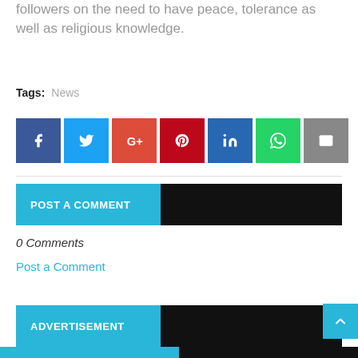followers on the need to have peace, tolerance as well as religious knowledge.
Tags: News
[Figure (infographic): Social sharing buttons: Facebook, Twitter, Google+, Pinterest, LinkedIn, WhatsApp, Email]
POST A COMMENT
0 Comments
Post a Comment
ADVERTISEMENT